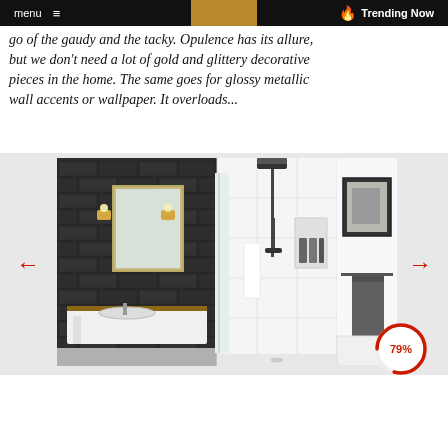menu  ≡   [gold bar]   🔥 Trending Now
go of the gaudy and the tacky. Opulence has its allure, but we don't need a lot of gold and glittery decorative pieces in the home. The same goes for glossy metallic wall accents or wallpaper. It overloads...
[Figure (photo): Bathroom interior with dark brick wall on the left side showing a floating vanity with mirror and wall sconces, and white tiled shower area on the right with a floor-standing shower system and niche, plus a towel bar with grey towel.]
[Figure (other): Circular progress indicator showing 79%]